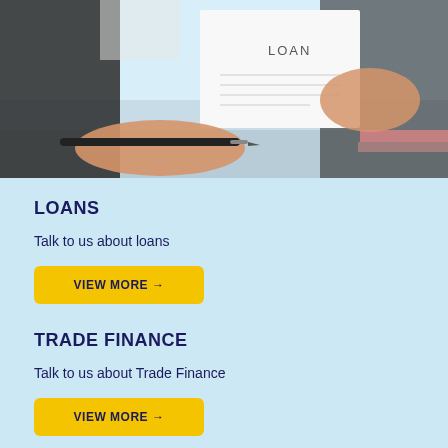[Figure (photo): Person in business attire holding a pen in one hand and a document labeled 'LOAN' in the other hand, sitting at a desk]
LOANS
Talk to us about loans
VIEW MORE →
TRADE FINANCE
Talk to us about Trade Finance
VIEW MORE →